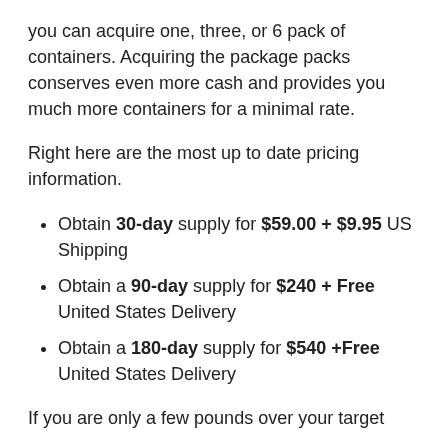you can acquire one, three, or 6 pack of containers. Acquiring the package packs conserves even more cash and provides you much more containers for a minimal rate.
Right here are the most up to date pricing information.
Obtain 30-day supply for $59.00 + $9.95 US Shipping
Obtain a 90-day supply for $240 + Free United States Delivery
Obtain a 180-day supply for $540 +Free United States Delivery
If you are only a few pounds over your target